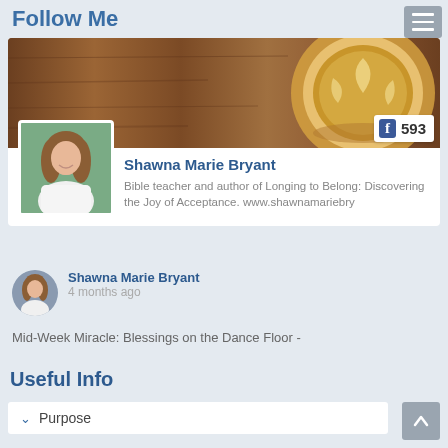Follow Me
[Figure (screenshot): Facebook profile card for Shawna Marie Bryant showing cover photo with coffee cup and wood table, profile avatar, name, bio text, and 593 Facebook followers badge]
Shawna Marie Bryant
Bible teacher and author of Longing to Belong: Discovering the Joy of Acceptance. www.shawnamariebry
Shawna Marie Bryant
4 months ago
Mid-Week Miracle: Blessings on the Dance Floor -
Useful Info
Purpose